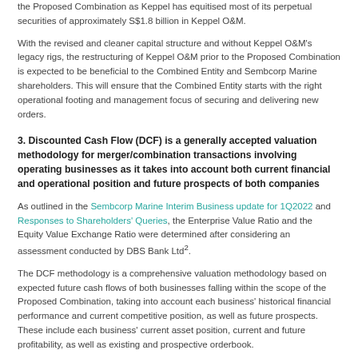the Proposed Combination as Keppel has equitised most of its perpetual securities of approximately S$1.8 billion in Keppel O&M.
With the revised and cleaner capital structure and without Keppel O&M's legacy rigs, the restructuring of Keppel O&M prior to the Proposed Combination is expected to be beneficial to the Combined Entity and Sembcorp Marine shareholders. This will ensure that the Combined Entity starts with the right operational footing and management focus of securing and delivering new orders.
3. Discounted Cash Flow (DCF) is a generally accepted valuation methodology for merger/combination transactions involving operating businesses as it takes into account both current financial and operational position and future prospects of both companies
As outlined in the Sembcorp Marine Interim Business update for 1Q2022 and Responses to Shareholders' Queries, the Enterprise Value Ratio and the Equity Value Exchange Ratio were determined after considering an assessment conducted by DBS Bank Ltd².
The DCF methodology is a comprehensive valuation methodology based on expected future cash flows of both businesses falling within the scope of the Proposed Combination, taking into account each business' historical financial performance and current competitive position, as well as future prospects. These include each business' current asset position, current and future profitability, as well as existing and prospective orderbook.